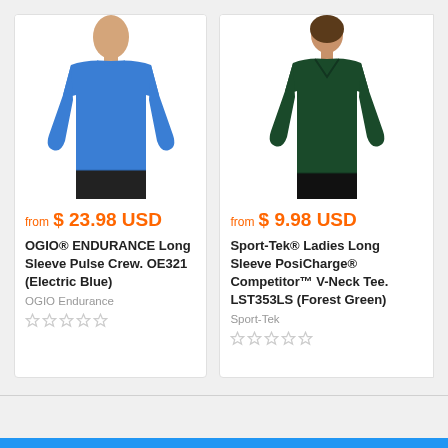[Figure (photo): Man wearing blue long sleeve athletic shirt, OGIO ENDURANCE product photo]
from $ 23.98 USD
OGIO® ENDURANCE Long Sleeve Pulse Crew. OE321 (Electric Blue)
OGIO Endurance
[Figure (other): Five empty star rating icons]
[Figure (photo): Woman wearing dark green long sleeve athletic V-neck shirt, Sport-Tek product photo]
from $ 9.98 USD
Sport-Tek® Ladies Long Sleeve PosiCharge® Competitor™ V-Neck Tee. LST353LS (Forest Green)
Sport-Tek
[Figure (other): Five empty star rating icons]